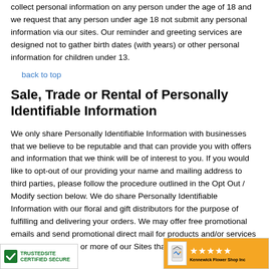collect personal information on any person under the age of 18 and we request that any person under age 18 not submit any personal information via our sites. Our reminder and greeting services are designed not to gather birth dates (with years) or other personal information for children under 13.
back to top
Sale, Trade or Rental of Personally Identifiable Information
We only share Personally Identifiable Information with businesses that we believe to be reputable and that can provide you with offers and information that we think will be of interest to you. If you would like to opt-out of our providing your name and mailing address to third parties, please follow the procedure outlined in the Opt Out / Modify section below. We do share Personally Identifiable Information with our floral and gift distributors for the purpose of fulfilling and delivering your orders. We may offer free promotional emails and send promotional direct mail for products and/or services offered on any one or more of our Sites that we believe are reputable, as a s